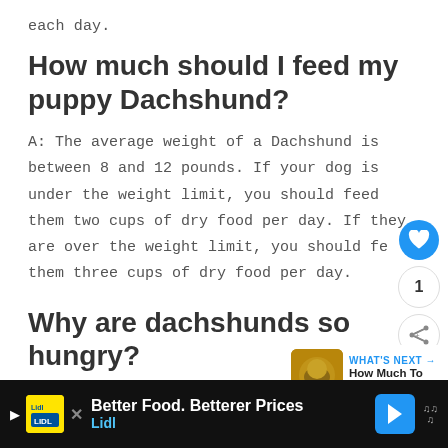each day.
How much should I feed my puppy Dachshund?
A: The average weight of a Dachshund is between 8 and 12 pounds. If your dog is under the weight limit, you should feed them two cups of dry food per day. If they are over the weight limit, you should feed them three cups of dry food per day.
Why are dachshunds so hungry?
A: Dachshunds are a breed of dog that were
[Figure (other): Ad banner: Better Food. Betterer Prices - Lidl, with logo and blue arrow icon]